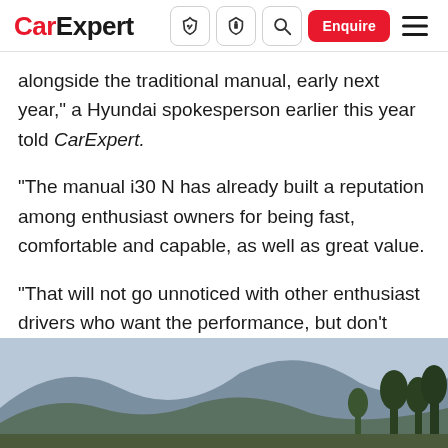CarExpert — navigation bar with logo, icons, Enquire button, hamburger menu
alongside the traditional manual, early next year," a Hyundai spokesperson earlier this year told CarExpert.
“The manual i30 N has already built a reputation among enthusiast owners for being fast, comfortable and capable, as well as great value.
“That will not go unnoticed with other enthusiast drivers who want the performance, but don’t want the inconvenience of a clutch pedal.”
[Figure (photo): Outdoor scenic photo showing mountains and trees in the background, partial view from a car story]